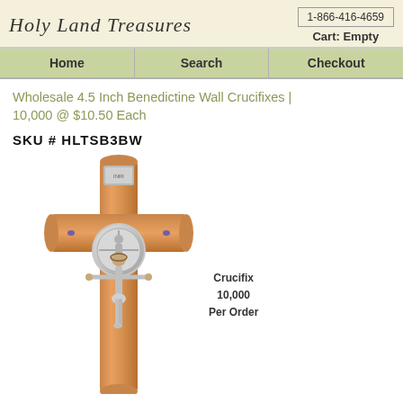Holy Land Treasures | 1-866-416-4659 | Cart: Empty
Home | Search | Checkout
Wholesale 4.5 Inch Benedictine Wall Crucifixes | 10,000 @ $10.50 Each
SKU # HLTSB3BW
[Figure (photo): A Benedictine wall crucifix with olive wood cross and silver-tone corpus (figure of Christ), with a circular medallion at the center. Label reads: Crucifix 10,000 Per Order.]
Crucifix
10,000
Per Order